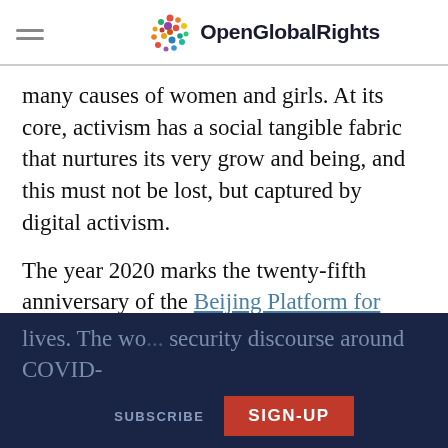OpenGlobalRights
many causes of women and girls. At its core, activism has a social tangible fabric that nurtures its very grow and being, and this must not be lost, but captured by digital activism.
The year 2020 marks the twenty-fifth anniversary of the Beijing Platform for Action with a focus on the progress towards gender equality.
However, COVID-19 has exacerbated the plight of women in all spheres of their lives. The wo... security discourse around COVID-